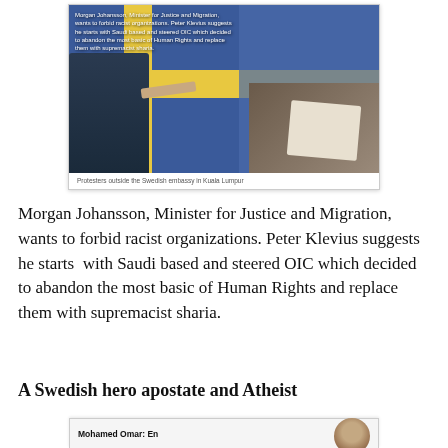[Figure (photo): Composite photo showing protesters outside the Swedish embassy in Kuala Lumpur, with Swedish flags and a person pointing. Overlaid text repeats the article caption about Morgan Johansson and OIC.]
Protesters outside the Swedish embassy in Kuala Lumpur
Morgan Johansson, Minister for Justice and Migration, wants to forbid racist organizations. Peter Klevius suggests he starts  with Saudi based and steered OIC which decided to abandon the most basic of Human Rights and replace them with supremacist sharia.
A Swedish hero apostate and Atheist
[Figure (photo): Partial image at bottom showing Mohamed Omar label and a face photograph partially visible.]